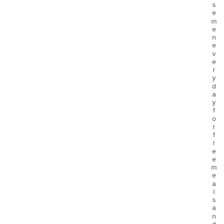semeneverydayforfreemealsandso